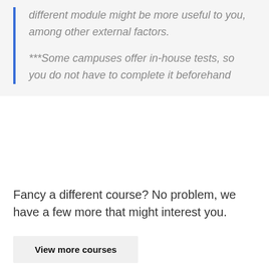different module might be more useful to you, among other external factors.

***Some campuses offer in-house tests, so you do not have to complete it beforehand
Fancy a different course? No problem, we have a few more that might interest you.
View more courses